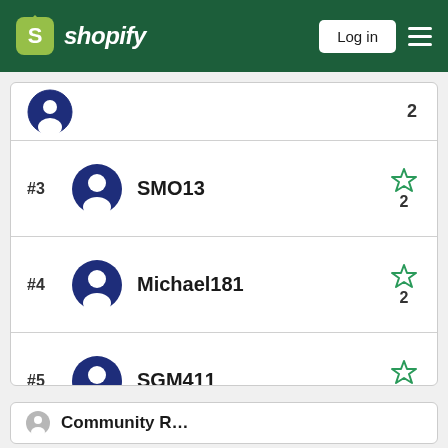Shopify — Log in
#3  SMO13  ☆ 2
#4  Michael181  ☆ 2
#5  SGM411  ☆ 2
View all →
Community R…